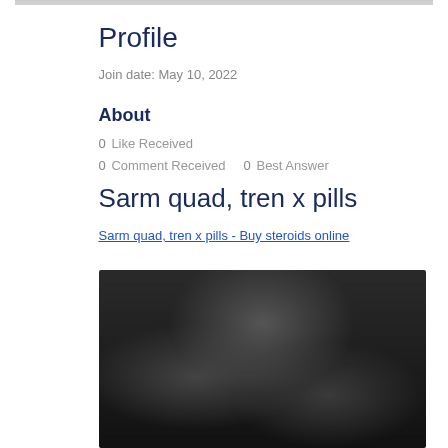Profile
Join date: May 10, 2022
About
0 Like Received
0 Comment Received    0 Best Answer
Sarm quad, tren x pills
Sarm quad, tren x pills - Buy steroids online
[Figure (photo): Dark blurred photo, likely showing pills or supplements on a dark background]